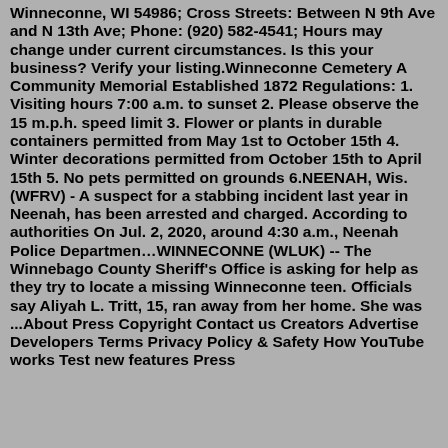Winneconne, WI 54986; Cross Streets: Between N 9th Ave and N 13th Ave; Phone: (920) 582-4541; Hours may change under current circumstances. Is this your business? Verify your listing.Winneconne Cemetery A Community Memorial Established 1872 Regulations: 1. Visiting hours 7:00 a.m. to sunset 2. Please observe the 15 m.p.h. speed limit 3. Flower or plants in durable containers permitted from May 1st to October 15th 4. Winter decorations permitted from October 15th to April 15th 5. No pets permitted on grounds 6.NEENAH, Wis. (WFRV) - A suspect for a stabbing incident last year in Neenah, has been arrested and charged. According to authorities On Jul. 2, 2020, around 4:30 a.m., Neenah Police Departmen…WINNECONNE (WLUK) -- The Winnebago County Sheriff's Office is asking for help as they try to locate a missing Winneconne teen. Officials say Aliyah L. Tritt, 15, ran away from her home. She was ...About Press Copyright Contact us Creators Advertise Developers Terms Privacy Policy & Safety How YouTube works Test new features Press